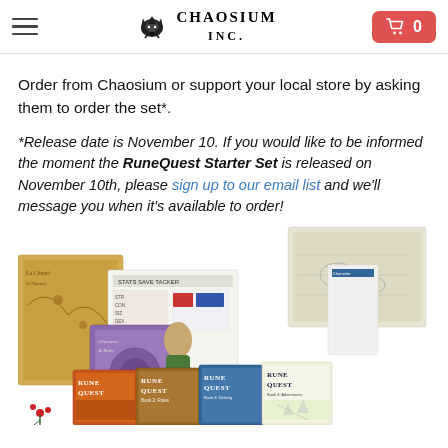Chaosium Inc. — navigation header with hamburger menu, logo, and cart button
Order from Chaosium or support your local store by asking them to order the set*.
*Release date is November 10. If you would like to be informed the moment the RuneQuest Starter Set is released on November 10th, please sign up to our email list and we'll message you when it's available to order!
[Figure (photo): A spread of RuneQuest Starter Set components including booklets, maps, character sheets, and other game materials arranged in a fan/pile.]